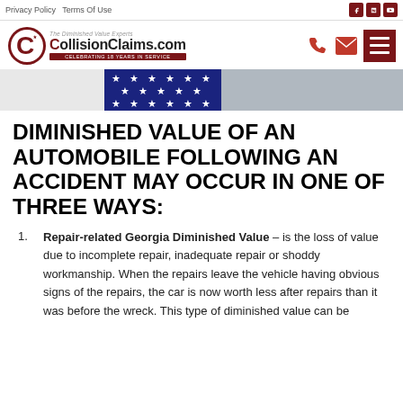Privacy Policy   Terms Of Use
[Figure (logo): CollisionClaims.com logo with red C circle and tagline 'The Diminished Value Experts', celebrating 18 years in service ribbon]
[Figure (photo): American flag close-up showing stars on blue field, banner image across top right of page]
DIMINISHED VALUE OF AN AUTOMOBILE FOLLOWING AN ACCIDENT MAY OCCUR IN ONE OF THREE WAYS:
Repair-related Georgia Diminished Value – is the loss of value due to incomplete repair, inadequate repair or shoddy workmanship. When the repairs leave the vehicle having obvious signs of the repairs, the car is now worth less after repairs than it was before the wreck. This type of diminished value can be